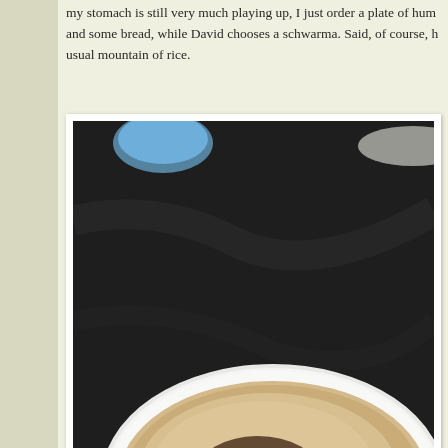my stomach is still very much playing up, I just order a plate of hum and some bread, while David chooses a schwarma. Said, of course, h usual mountain of rice.
[Figure (photo): A white oval plate with hummus topped with dark spices (sumac/za'atar), served on a dark marble table. A blue glass is partially visible in the background.]
[Figure (photo): Bottom portion of a photo showing a dark background with what appears to be white napkins or food items at the bottom.]